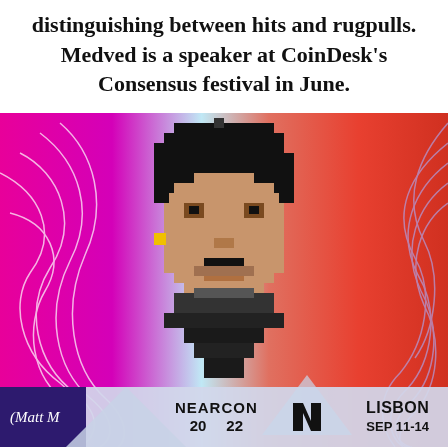distinguishing between hits and rugpulls. Medved is a speaker at CoinDesk's Consensus festival in June.
[Figure (illustration): Colorful pixel art NFT character (CryptoPunk-style) with black hair and skin-tone face on a vibrant pink/magenta and orange/red gradient background with flowing white/blue swirl lines. Bottom banner shows NEARCON 20 22 with NEAR Protocol logo and LISBON SEP 11-14 text. Caption partially visible: (Matt M...]
(Matt M